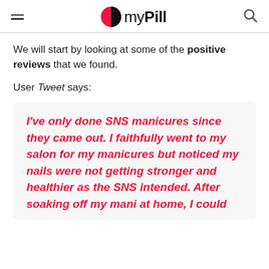myPill
We will start by looking at some of the positive reviews that we found.
User Tweet says:
I've only done SNS manicures since they came out. I faithfully went to my salon for my manicures but noticed my nails were not getting stronger and healthier as the SNS intended. After soaking off my mani at home, I could